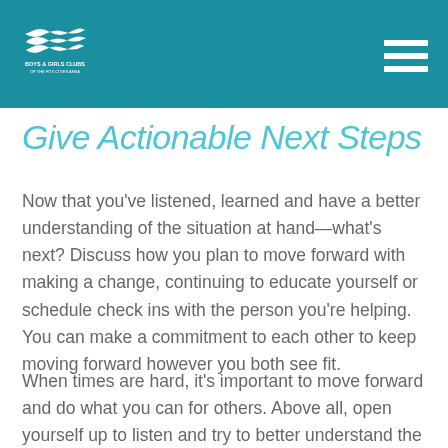Boys & Girls Clubs of the Fox Cities Area
Give Actionable Next Steps
Now that you've listened, learned and have a better understanding of the situation at hand—what's next? Discuss how you plan to move forward with making a change, continuing to educate yourself or schedule check ins with the person you're helping. You can make a commitment to each other to keep moving forward however you both see fit.
When times are hard, it's important to move forward and do what you can for others. Above all, open yourself up to listen and try to better understand the situation from